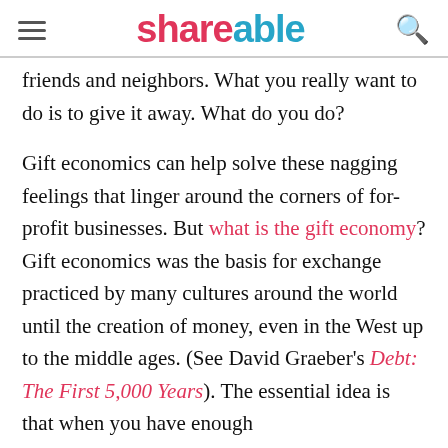SHAREABLE
friends and neighbors. What you really want to do is to give it away. What do you do?
Gift economics can help solve these nagging feelings that linger around the corners of for-profit businesses. But what is the gift economy? Gift economics was the basis for exchange practiced by many cultures around the world until the creation of money, even in the West up to the middle ages. (See David Graeber's Debt: The First 5,000 Years). The essential idea is that when you have enough of something for a little more to cost...